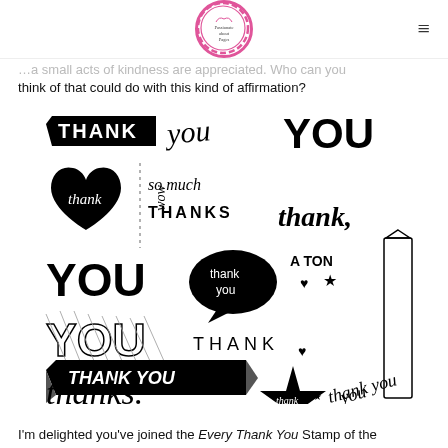Passionate about Pages [logo]
…a small acts of kindness are appreciated. Who can you think of that could do with this kind of affirmation?
[Figure (illustration): A stamp set image showing many 'thank you' phrases and variations in different fonts and styles, all in black and white. Phrases include: THANK you, YOU, thank (in heart), wow, so much, THANKS, thank, YOU, thank you (in speech bubble), A TON, YOU (striped), THANK, you, thank you (in banner ribbon), thanks., thank you (in star), thank you (diagonal script), YOU, THANKS A MILLION (vertical).]
I'm delighted you've joined the Every Thank You Stamp of the